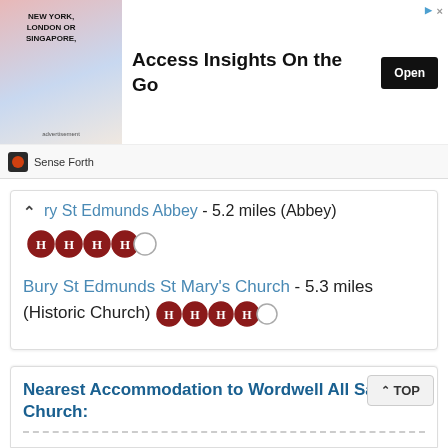[Figure (screenshot): Advertisement banner: image of man in suit with text NEW YORK, LONDON OR SINGAPORE, headline Access Insights On the Go, Open button, Sense Forth brand]
ry St Edmunds Abbey - 5.2 miles (Abbey)
[Figure (infographic): Four red H heritage icons followed by one empty circle rating indicator]
Bury St Edmunds St Mary's Church - 5.3 miles (Historic Church)
[Figure (infographic): Four red H heritage icons followed by one empty circle rating indicator]
Nearest Accommodation to Wordwell All Saints Church: